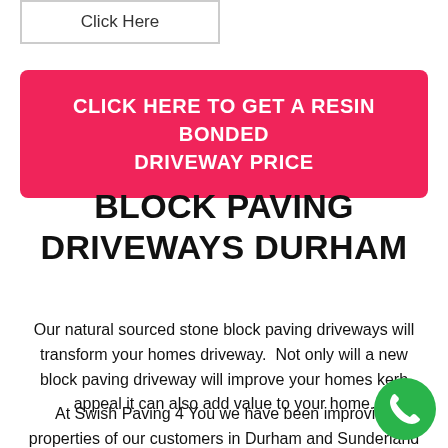Click Here
CLICK HERE TO GET A RESIN BONDED DRIVEWAY PRICE
BLOCK PAVING DRIVEWAYS DURHAM
Our natural sourced stone block paving driveways will transform your homes driveway.  Not only will a new block paving driveway will improve your homes kerb appeal it can also add value to your home.
At Swish Paving 4 You we have been improving properties of our customers in Durham and Sunderland as well as the rest of the North East for over 20 years.
[Figure (other): Green circular phone/call button icon in bottom right corner]